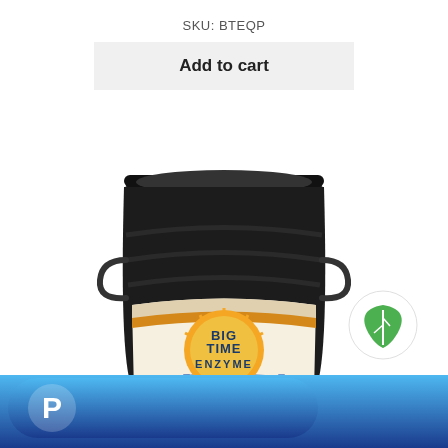SKU: BTEQP
Add to cart
[Figure (photo): Black 5-gallon bucket with Big Time Enzyme label showing an orange sun/circle logo with city skyline and science imagery]
[Figure (logo): Green leaf eco icon inside white circle]
[Figure (logo): PayPal payment button bar - blue gradient rounded rectangle with white PayPal P logo]